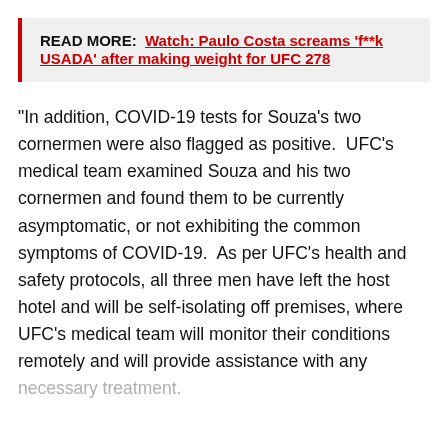READ MORE: Watch: Paulo Costa screams 'f**k USADA' after making weight for UFC 278
“In addition, COVID-19 tests for Souza’s two cornermen were also flagged as positive.  UFC’s medical team examined Souza and his two cornermen and found them to be currently asymptomatic, or not exhibiting the common symptoms of COVID-19.  As per UFC’s health and safety protocols, all three men have left the host hotel and will be self-isolating off premises, where UFC’s medical team will monitor their conditions remotely and will provide assistance with any necessary treatment.